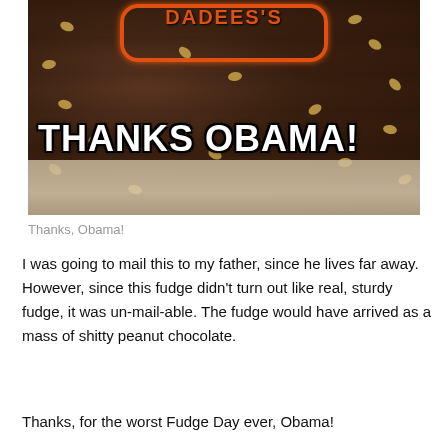[Figure (photo): A dark chocolate fudge with peanuts on top, with orange frosting text at the top and 'THANKS OBAMA!' overlaid in large white bold text at the bottom portion of the image.]
Thanks, Obama!
I was going to mail this to my father, since he lives far away. However, since this fudge didn't turn out like real, sturdy fudge, it was un-mail-able. The fudge would have arrived as a mass of shitty peanut chocolate.
Thanks, for the worst Fudge Day ever, Obama!